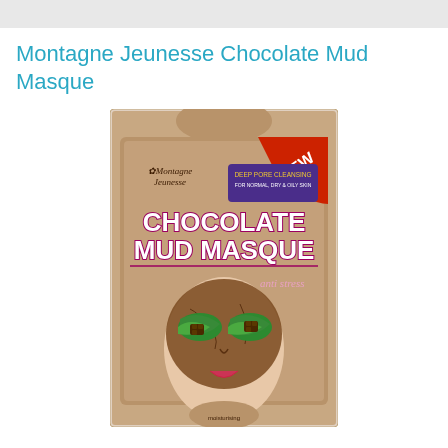[Figure (photo): Gray top bar element]
Montagne Jeunesse Chocolate Mud Masque
[Figure (photo): Product packaging image of Montagne Jeunesse Chocolate Mud Masque. Shows a brown pouch with a woman's face covered in chocolate mud mask with green leaves and chocolate pieces over her eyes. Features a red 'NEW' badge in top right corner, purple 'DEEP PORE CLEANSING FOR NORMAL, DRY & OILY SKIN' text, large white 'CHOCOLATE MUD MASQUE' text, and 'anti stress' script text.]